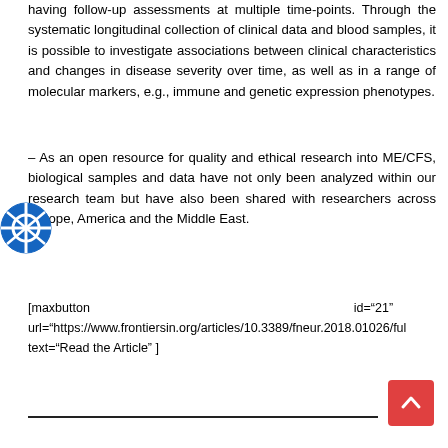having follow-up assessments at multiple time-points. Through the systematic longitudinal collection of clinical data and blood samples, it is possible to investigate associations between clinical characteristics and changes in disease severity over time, as well as in a range of molecular markers, e.g., immune and genetic expression phenotypes.
– As an open resource for quality and ethical research into ME/CFS, biological samples and data have not only been analyzed within our research team but have also been shared with researchers across Europe, America and the Middle East.
[maxbutton id="21" url="https://www.frontiersin.org/articles/10.3389/fneur.2018.01026/ful text="Read the Article" ]